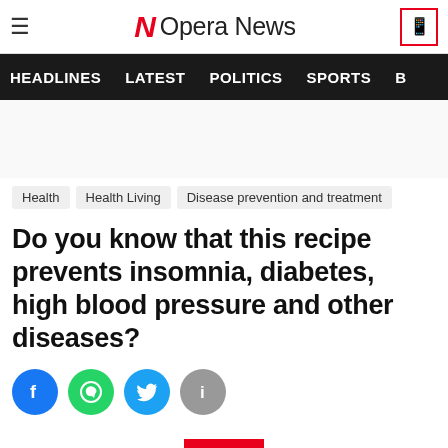Opera News
HEADLINES  LATEST  POLITICS  SPORTS
Health  Health Living  Disease prevention and treatment
Do you know that this recipe prevents insomnia, diabetes, high blood pressure and other diseases?
[Figure (infographic): Social sharing buttons: Facebook (blue), WhatsApp (green), Twitter (blue), Info (gray)]
[Figure (other): Red scroll down / expand button with chevron arrow]